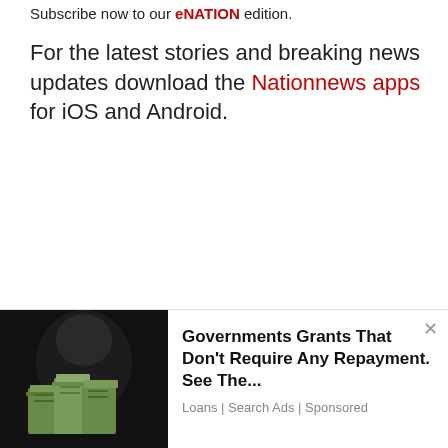Subscribe now to our eNATION edition.
For the latest stories and breaking news updates download the Nationnews apps for iOS and Android.
[Figure (photo): Advertisement image showing stacks of US dollar bills, used for a government grants ad]
Governments Grants That Don't Require Any Repayment. See The... Loans | Search Ads | Sponsored